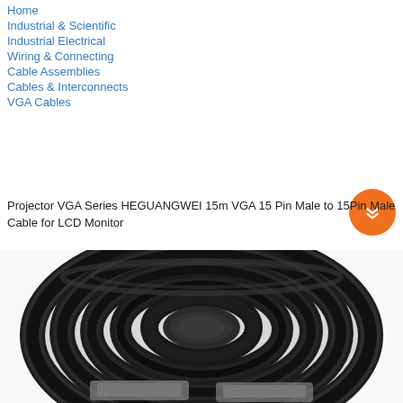Home
Industrial & Scientific
Industrial Electrical
Wiring & Connecting
Cable Assemblies
Cables & Interconnects
VGA Cables
Projector VGA Series HEGUANGWEI 15m VGA 15 Pin Male to 15Pin Male Cable for LCD Monitor
[Figure (photo): A coiled black VGA cable photographed from above, showing the circular coil of thick black cable with VGA connectors visible at the bottom.]